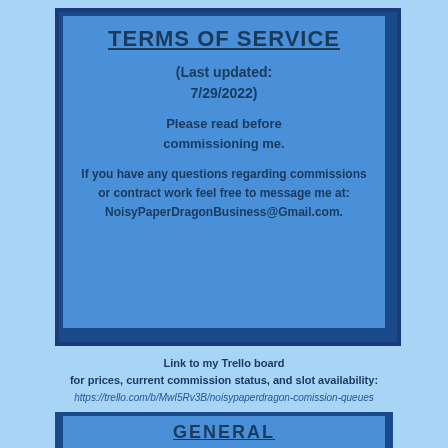TERMS OF SERVICE
(Last updated: 7/29/2022)
Please read before commissioning me.
If you have any questions regarding commissions or contract work feel free to message me at: NoisyPaperDragonBusiness@Gmail.com.
Link to my Trello board for prices, current commission status, and slot availability:
https://trello.com/b/MwI5Rv3B/noisypaperdragon-comission-queues
GENERAL